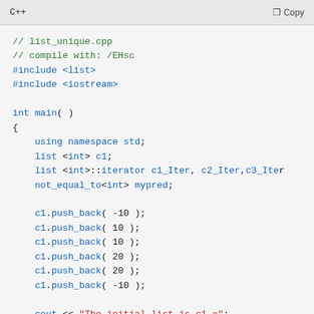C++    Copy
[Figure (screenshot): C++ source code snippet for list_unique.cpp showing includes, main function, list declarations, push_back calls, and beginning of cout/for loop statements]